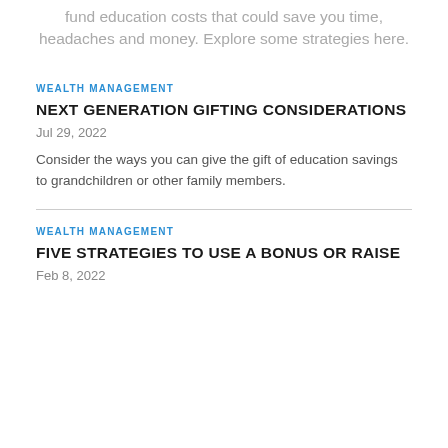fund education costs that could save you time, headaches and money. Explore some strategies here.
WEALTH MANAGEMENT
NEXT GENERATION GIFTING CONSIDERATIONS
Jul 29, 2022
Consider the ways you can give the gift of education savings to grandchildren or other family members.
WEALTH MANAGEMENT
FIVE STRATEGIES TO USE A BONUS OR RAISE
Feb 8, 2022